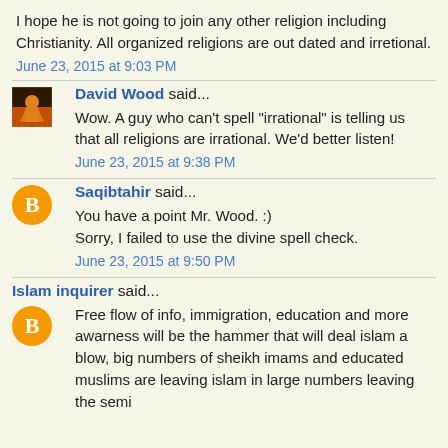I hope he is not going to join any other religion including Christianity. All organized religions are out dated and irretional.
June 23, 2015 at 9:03 PM
David Wood said...
Wow. A guy who can't spell "irrational" is telling us that all religions are irrational. We'd better listen!
June 23, 2015 at 9:38 PM
Saqibtahir said...
You have a point Mr. Wood. :)
Sorry, I failed to use the divine spell check.
June 23, 2015 at 9:50 PM
Islam inquirer said...
Free flow of info, immigration, education and more awarness will be the hammer that will deal islam a blow, big numbers of sheikh imams and educated muslims are leaving islam in large numbers leaving the semi...